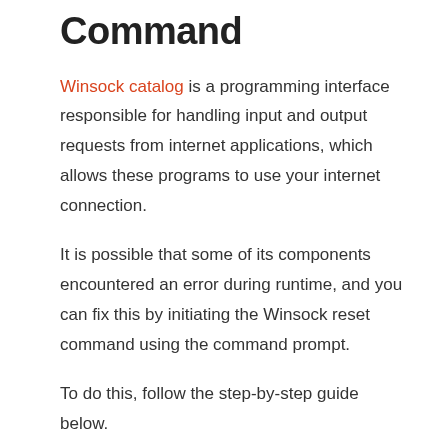Command
Winsock catalog is a programming interface responsible for handling input and output requests from internet applications, which allows these programs to use your internet connection.
It is possible that some of its components encountered an error during runtime, and you can fix this by initiating the Winsock reset command using the command prompt.
To do this, follow the step-by-step guide below.